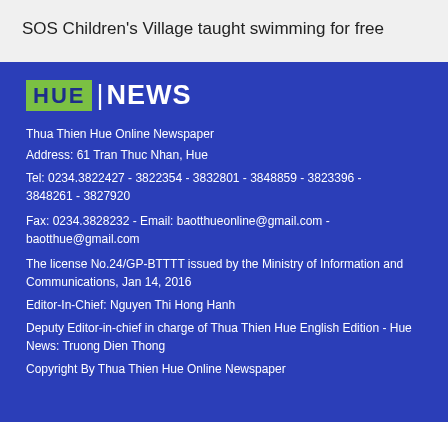SOS Children's Village taught swimming for free
[Figure (logo): HUE NEWS logo — green square letters HUE followed by white vertical bar and white bold text NEWS]
Thua Thien Hue Online Newspaper
Address: 61 Tran Thuc Nhan, Hue
Tel: 0234.3822427 - 3822354 - 3832801 - 3848859 - 3823396 - 3848261 - 3827920
Fax: 0234.3828232 - Email: baotthueonline@gmail.com - baotthue@gmail.com
The license No.24/GP-BTTTT issued by the Ministry of Information and Communications, Jan 14, 2016
Editor-In-Chief: Nguyen Thi Hong Hanh
Deputy Editor-in-chief in charge of Thua Thien Hue English Edition - Hue News: Truong Dien Thong
Copyright By Thua Thien Hue Online Newspaper